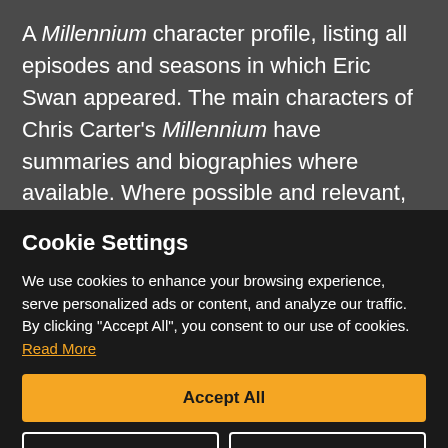A Millennium character profile, listing all episodes and seasons in which Eric Swan appeared. The main characters of Chris Carter's Millennium have summaries and biographies where available. Where possible and relevant, we've also included any
Cookie Settings
We use cookies to enhance your browsing experience, serve personalized ads or content, and analyze our traffic. By clicking "Accept All", you consent to our use of cookies. Read More